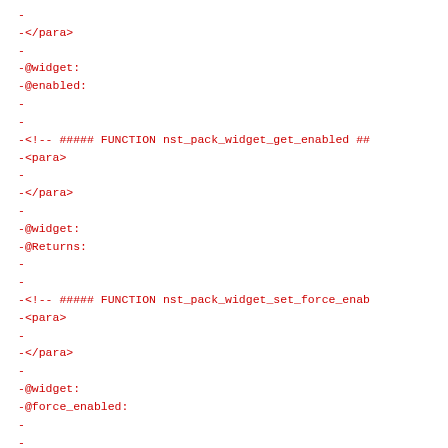-
-</para>
-
-@widget:
-@enabled:
-
-
-<!-- ##### FUNCTION nst_pack_widget_get_enabled ##
-<para>
-
-</para>
-
-@widget:
-@Returns:
-
-
-<!-- ##### FUNCTION nst_pack_widget_set_force_enab
-<para>
-
-</para>
-
-@widget:
-@force_enabled:
-
-
-<!-- ##### FUNCTION nst_pack_widget_get_force_enab
-<para>
-
-</para>
-
-